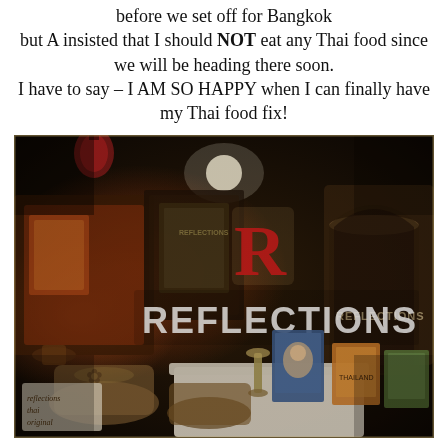before we set off for Bangkok but A insisted that I should NOT eat any Thai food since we will be heading there soon. I have to say – I AM SO HAPPY when I can finally have my Thai food fix!
[Figure (photo): Interior photo of a Thai restaurant called 'Reflections'. The image shows a dark-lit restaurant with a prominent 'REFLECTIONS' sign visible on what appears to be a glass door or window. A stylized red letter 'R' logo is displayed on top. In the foreground, there is a white table with books/items including portraits of what appears to be Thai royalty. Chairs with decorative patterns are visible. The restaurant interior has warm orange/red tones with various decorations.]